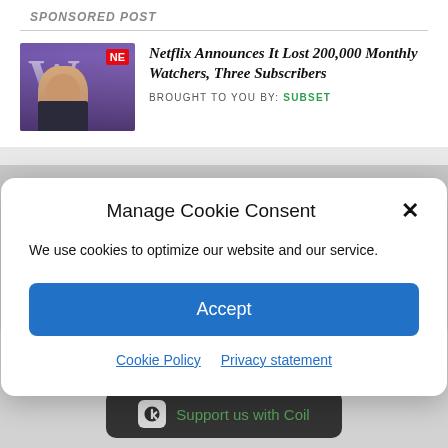SPONSORED POST
Netflix Announces It Lost 200,000 Monthly Watchers, Three Subscribers
BROUGHT TO YOU BY: SUBSET
Manage Cookie Consent
We use cookies to optimize our website and our service.
Accept
Cookie Policy   Privacy statement
[Figure (logo): Social media icons: Twitter bird, Facebook f circle, Instagram camera circle]
Support us with Coil